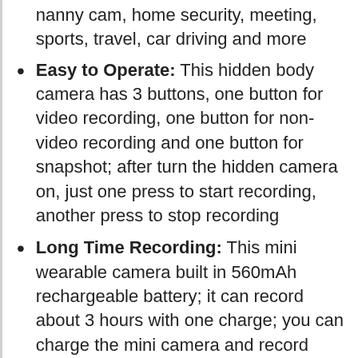nanny cam, home security, meeting, sports, travel, car driving and more
Easy to Operate: This hidden body camera has 3 buttons, one button for video recording, one button for non-video recording and one button for snapshot; after turn the hidden camera on, just one press to start recording, another press to stop recording
Long Time Recording: This mini wearable camera built in 560mAh rechargeable battery; it can record about 3 hours with one charge; you can charge the mini camera and record video at the same time; when you want to record more than 3 hours, you can connect the wearable any cam to a power bank or USB charger